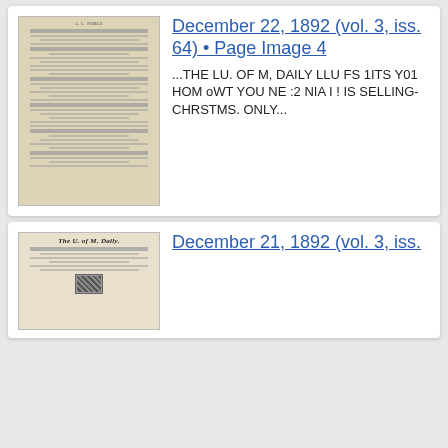[Figure (photo): Thumbnail of a newspaper page, aged/yellowed paper with printed columns and text, resembling a historical newspaper page scan.]
December 22, 1892 (vol. 3, iss. 64) • Page Image 4
...THE LU. OF M, DAILY LLU FS 1ITS Y01 HOM oWT YOU NE :2 NIA I ! IS SELLING- CHRSTMS. ONLY...
[Figure (photo): Thumbnail of a newspaper front page titled 'The U. of M. Daily.' with decorative masthead font, columns and a small advertisement image.]
December 21, 1892 (vol. 3, iss.